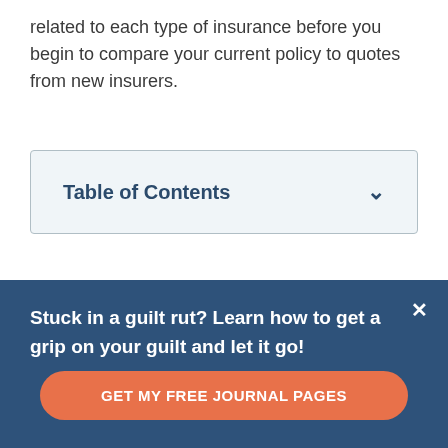related to each type of insurance before you begin to compare your current policy to quotes from new insurers.
| Table of Contents |
| --- |
HOW TO CONDUCT A LIFE
Stuck in a guilt rut? Learn how to get a grip on your guilt and let it go!
GET MY FREE JOURNAL PAGES